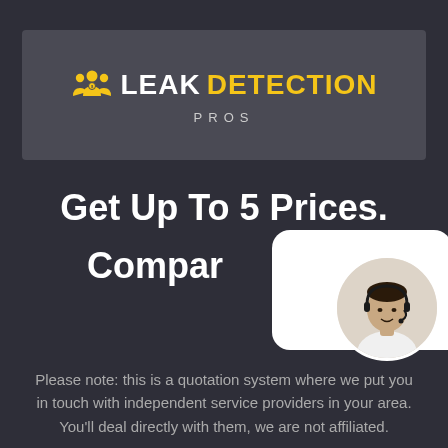[Figure (logo): Leak Detection Pros logo with yellow people icon and text on dark grey banner background]
Get Up To 5 Prices. Compare.
[Figure (photo): Customer service agent with headset in circular chat bubble overlay]
Please note: this is a quotation system where we put you in touch with independent service providers in your area. You'll deal directly with them, we are not affiliated.